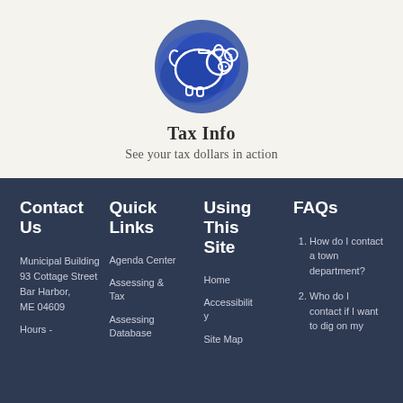[Figure (illustration): Blue watercolor piggy bank illustration with white outline]
Tax Info
See your tax dollars in action
Contact Us
Quick Links
Using This Site
FAQs
Municipal Building
93 Cottage Street
Bar Harbor, ME 04609
Hours -
Agenda Center
Assessing & Tax
Assessing Database
Home
Accessibility
Site Map
How do I contact a town department?
Who do I contact if I want to dig on my